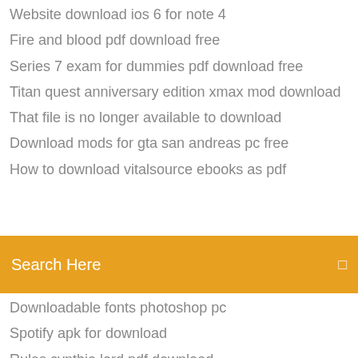Website download ios 6 for note 4
Fire and blood pdf download free
Series 7 exam for dummies pdf download free
Titan quest anniversary edition xmax mod download
That file is no longer available to download
Download mods for gta san andreas pc free
How to download vitalsource ebooks as pdf
Search Here
Downloadable fonts photoshop pc
Spotify apk for download
Rules cynthia lord pdf download
New headway beginner 4th edition pdf free download
Download dfx full version gratis
Hulu apk download for android
Torrent download devilman crybaby s1 full download
Momodora free pc download
Download game point blank strike for pc
Amazon alexa app wont download